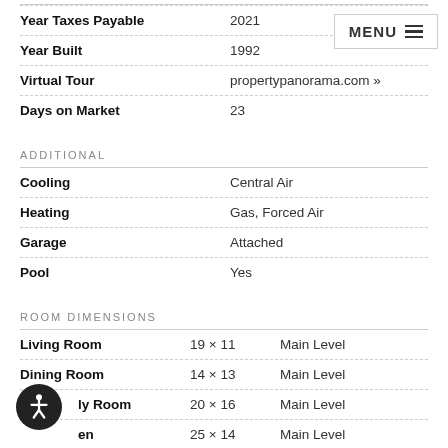| Field | Value |
| --- | --- |
| Year Taxes Payable | 2021 |
| Year Built | 1992 |
| Virtual Tour | propertypanorama.com » |
| Days on Market | 23 |
ADDITIONAL
| Field | Value |
| --- | --- |
| Cooling | Central Air |
| Heating | Gas, Forced Air |
| Garage | Attached |
| Pool | Yes |
ROOM DIMENSIONS
| Room | Dimensions | Level |
| --- | --- | --- |
| Living Room | 19 × 11 | Main Level |
| Dining Room | 14 × 13 | Main Level |
| Family Room | 20 × 16 | Main Level |
| Kitchen | 25 × 14 | Main Level |